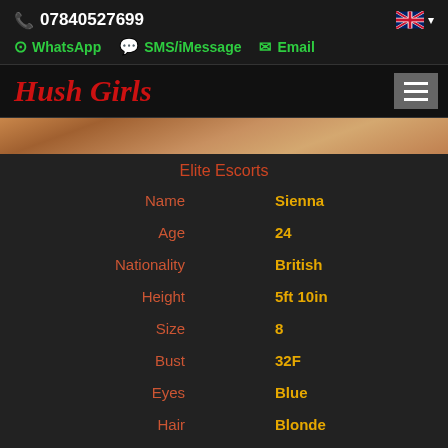07840527699
WhatsApp  SMS/iMessage  Email
Hush Girls
[Figure (photo): Partial skin-tone photo strip at top of profile]
Elite Escorts
| Attribute | Value |
| --- | --- |
| Name | Sienna |
| Age | 24 |
| Nationality | British |
| Height | 5ft 10in |
| Size | 8 |
| Bust | 32F |
| Eyes | Blue |
| Hair | Blonde |
| Orientation | Bisexual |
| Languages | English |
| Areas | Manchester |